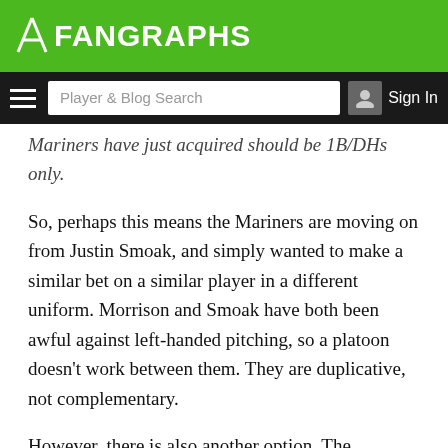FanGraphs
Mariners have just acquired should be 1B/DHs only.
So, perhaps this means the Mariners are moving on from Justin Smoak, and simply wanted to make a similar bet on a similar player in a different uniform. Morrison and Smoak have both been awful against left-handed pitching, so a platoon doesn't work between them. They are duplicative, not complementary.
However, there is also another option. The Mariners have been widely reported to have interest in David Price, who Tampa Bay is shopping. The Rays currently have a void at first base. The Rays were reported to have some interest in Morrison, and if